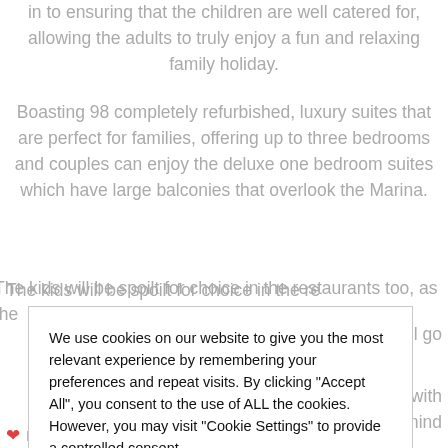in to ensuring that the children are well catered for, allowing the adults to truly enjoy a fun and relaxing family holiday.
Boasting 98 completely refurbished, luxury suites that are perfect for families, offering up to three bedrooms and couples can enjoy the deluxe one bedroom suites which have large balconies that overlook the Marina.
The kids will be spoilt for choice in the restaurants too, as the [menu]...nel, nobody will go
We use cookies on our website to give you the most relevant experience by remembering your preferences and repeat visits. By clicking "Accept All", you consent to the use of ALL the cookies. However, you may visit "Cookie Settings" to provide a controlled consent.
Cookie Settings | Accept All
or families with mind
es, and are set
Kids will be...